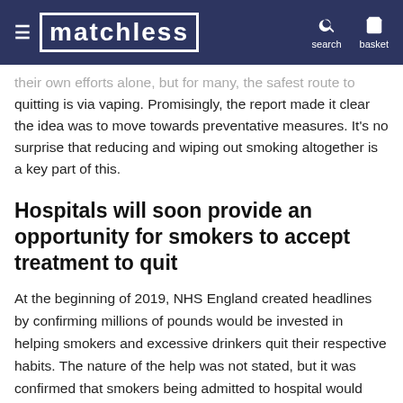MATCHLESS | search | basket
their own efforts alone, but for many, the safest route to quitting is via vaping. Promisingly, the report made it clear the idea was to move towards preventative measures. It's no surprise that reducing and wiping out smoking altogether is a key part of this.
Hospitals will soon provide an opportunity for smokers to accept treatment to quit
At the beginning of 2019, NHS England created headlines by confirming millions of pounds would be invested in helping smokers and excessive drinkers quit their respective habits. The nature of the help was not stated, but it was confirmed that smokers being admitted to hospital would receive support in trying to stop